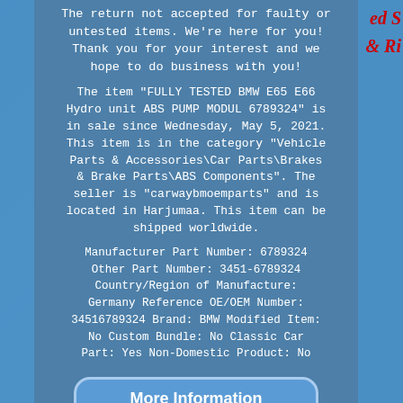The return not accepted for faulty or untested items. We're here for you! Thank you for your interest and we hope to do business with you!
The item "FULLY TESTED BMW E65 E66 Hydro unit ABS PUMP MODUL 6789324" is in sale since Wednesday, May 5, 2021. This item is in the category "Vehicle Parts & Accessories\Car Parts\Brakes & Brake Parts\ABS Components". The seller is "carwaybmoemparts" and is located in Harjumaa. This item can be shipped worldwide.
Manufacturer Part Number: 6789324 Other Part Number: 3451-6789324 Country/Region of Manufacture: Germany Reference OE/OEM Number: 34516789324 Brand: BMW Modified Item: No Custom Bundle: No Classic Car Part: Yes Non-Domestic Product: No
[Figure (other): More Information button with ebay branding, rounded rectangle style in blue]